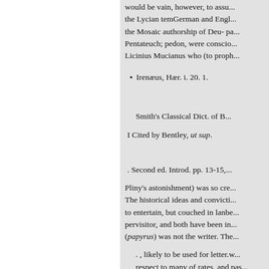would be vain, however, to assu... the Lycian temGerman and Engl... the Mosaic authorship of Deu- pa... Pentateuch; pedon, were conscio... Licinius Mucianus who (to proph...
Irenæus, Hær. i. 20. 1.
Smith's Classical Dict. of B...
I Cited by Bentley, ut sup.
. Second ed. Introd. pp. 13-15,
Pliny's astonishment) was so cre... The historical ideas and convicti... to entertain, but couched in lanbe... pervisitor, and both have been in... (papyrus) was not the writer. The...
. , likely to be used for letter.w... respect to many of rates, and pas...